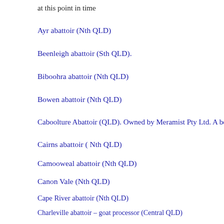at this point in time
Ayr abattoir (Nth QLD)
Beenleigh abattoir (Sth QLD).
Biboohra abattoir (Nth QLD)
Bowen abattoir (Nth QLD)
Caboolture Abattoir (QLD). Owned by Meramist Pty Ltd. A beef and
Cairns abattoir ( Nth QLD)
Camooweal abattoir (Nth QLD)
Canon Vale (Nth QLD)
Cape River abattoir (Nth QLD)
Charleville abattoir – goat processor (Central QLD)
Clermont abattoir (Central QLD)
Cloncurry abattoir #1 (Central QLD)
Cloncurry #2, proposed abattoir (Central QLD)